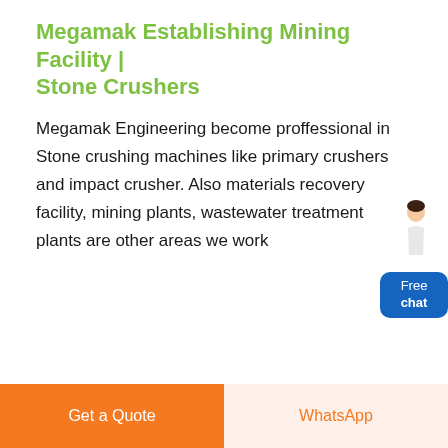Megamak Establishing Mining Facility | Stone Crushers
Megamak Engineering become proffessional in Stone crushing machines like primary crushers and impact crusher. Also materials recovery facility, mining plants, wastewater treatment plants are other areas we work
[Figure (illustration): Chat widget with a person illustration and a blue 'Free chat' button]
[Figure (photo): Photo of yellow mining conveyor belt and crusher equipment against a grey sky]
Get a Quote
WhatsApp